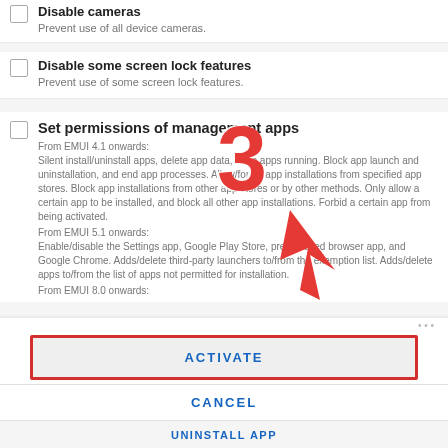Disable cameras
Prevent use of all device cameras.
Disable some screen lock features
Prevent use of some screen lock features.
Set permissions of management apps
From EMUI 4.1 onwards:
Silent install/uninstall apps, delete app data, keep apps running. Block app launch and uninstallation, and end app processes. Allow/forbid app installations from specified app stores. Block app installations from other app stores or by other methods. Only allow a certain app to be installed, and block all other app installations. Forbid a certain app from being activated.
From EMUI 5.1 onwards:
Enable/disable the Settings app, Google Play Store, pre-installed browser app, and Google Chrome. Adds/delete third-party launchers to/from the exemption list. Adds/delete apps to/from the list of apps not permitted for installation.
From EMUI 8.0 onwards:
[Figure (screenshot): Red number 3 annotation and red arrow pointing to ACTIVATE button]
ACTIVATE
CANCEL
UNINSTALL APP